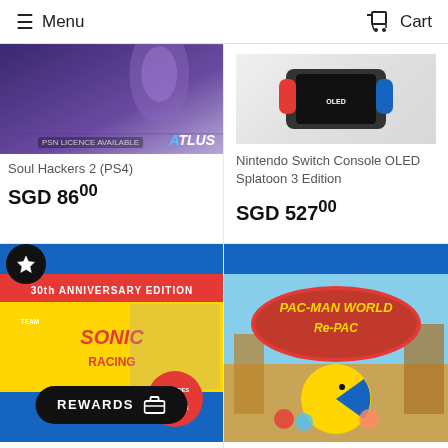Menu  Cart
[Figure (screenshot): Soul Hackers 2 PS4 game cover with age rating 16 badge and ATLUS logo]
Soul Hackers 2 (PS4)
SGD 86.00
[Figure (screenshot): Nintendo Switch Console OLED Splatoon 3 Edition product image]
Nintendo Switch Console OLED Splatoon 3 Edition
SGD 527.00
[Figure (screenshot): Team Sonic Racing 30th Anniversary Edition PS4 game cover]
[Figure (screenshot): PAC-MAN WORLD Re-PAC PS4 game cover]
REWARDS